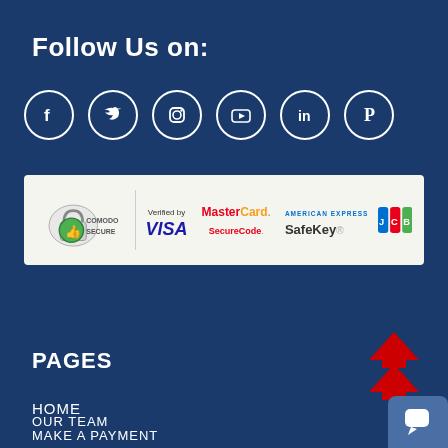Follow Us on:
[Figure (infographic): Six social media icon circles: Facebook, Twitter, Instagram, YouTube, LinkedIn, Pinterest]
[Figure (infographic): Security payment banner with Comodo Secure badge, Verified by VISA, MasterCard SecureCode, American Express SafeKey, and JCB logos]
PAGES
HOME
OUR TEAM
MAKE A PAYMENT